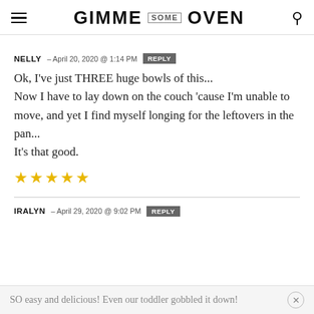GIMME SOME OVEN
NELLY – APRIL 20, 2020 @ 1:14 PM  REPLY
Ok, I've just THREE huge bowls of this...
Now I have to lay down on the couch 'cause I'm unable to move, and yet I find myself longing for the leftovers in the pan...
It's that good.
★★★★★
IRALYN – APRIL 29, 2020 @ 9:02 PM  REPLY
SO easy and delicious! Even our toddler gobbled it down!